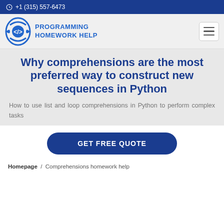+1 (315) 557-6473
[Figure (logo): Programming Homework Help logo with code brackets icon and text PROGRAMMING HOMEWORK HELP]
Why comprehensions are the most preferred way to construct new sequences in Python
How to use list and loop comprehensions in Python to perform complex tasks
GET FREE QUOTE
Homepage / Comprehensions homework help